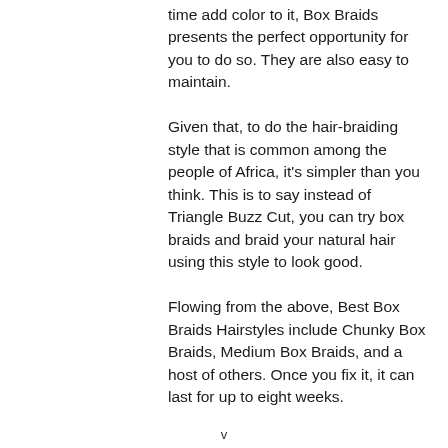time add color to it, Box Braids presents the perfect opportunity for you to do so. They are also easy to maintain. Given that, to do the hair-braiding style that is common among the people of Africa, it's simpler than you think. This is to say instead of Triangle Buzz Cut, you can try box braids and braid your natural hair using this style to look good. Flowing from the above, Best Box Braids Hairstyles include Chunky Box Braids, Medium Box Braids, and a host of others. Once you fix it, it can last for up to eight weeks.
v